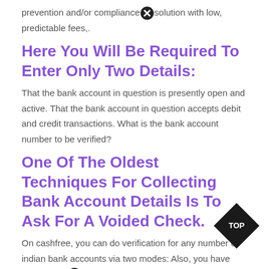prevention and/or compliance solution with low, predictable fees,.
Here You Will Be Required To Enter Only Two Details:
That the bank account in question is presently open and active. That the bank account in question accepts debit and credit transactions. What is the bank account number to be verified?
One Of The Oldest Techniques For Collecting Bank Account Details Is To Ask For A Voided Check.
On cashfree, you can do verification for any number of indian bank accounts via two modes: Also, you have three attempts to verify your test transaction. By integrating our tool software you can check iban, verify bban and effectively